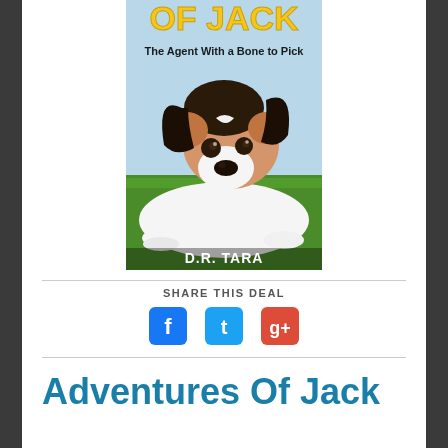[Figure (illustration): Book cover for 'Adventures Of Jack: The Agent With a Bone to Pick' by D.R. Tara. Shows a Jack Russell Terrier dog lying on green grass with sky background. Title text in yellow at top, author name in white at bottom.]
SHARE THIS DEAL
[Figure (infographic): Three social media sharing icons: Facebook (blue f), Twitter (blue bird/t), Google+ (red g+)]
Adventures Of Jack